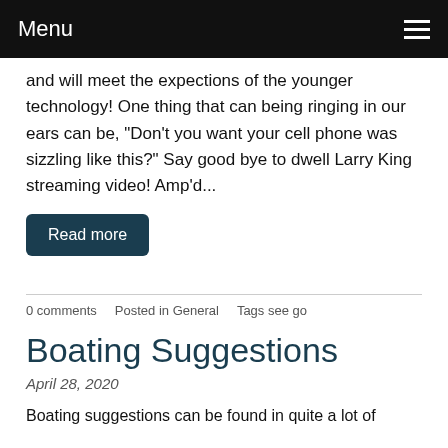Menu
and will meet the expections of the younger technology! One thing that can being ringing in our ears can be, "Don't you want your cell phone was sizzling like this?" Say good bye to dwell Larry King streaming video! Amp'd...
Read more
0 comments   Posted in General   Tags see go
Boating Suggestions
April 28, 2020
Boating suggestions can be found in quite a lot of